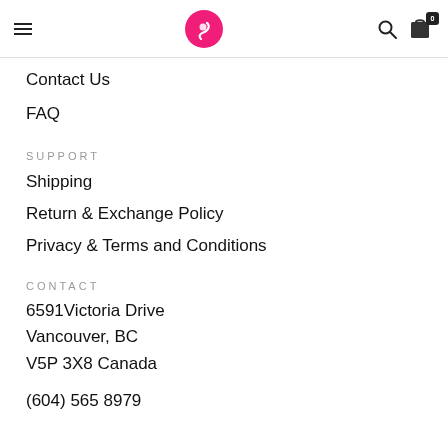[Navigation header with logo, hamburger menu, search icon, cart icon showing 0]
Contact Us
FAQ
SUPPORT
Shipping
Return & Exchange Policy
Privacy & Terms and Conditions
CONTACT
6591Victoria Drive
Vancouver, BC
V5P 3X8 Canada
(604) 565 8979